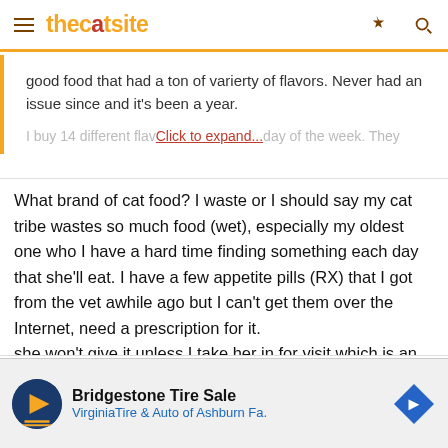thecatsite
good food that had a ton of varierty of flavors. Never had an issue since and it's been a year.
I buy 14 different flav... Click to expand... day of the week. They
What brand of cat food? I waste or I should say my cat tribe wastes so much food (wet), especially my oldest one who I have a hard time finding something each day that she'll eat. I have a few appetite pills (RX) that I got from the vet awhile ago but I can't get them over the Internet, need a prescription for it.
she won't give it unless I take her in for visit which is an automatic $70 just to walk in the office...
[Figure (infographic): Advertisement banner for Bridgestone Tire Sale / VirginiaTire & Auto of Ashburn Fa. with logo, play button, and diamond arrow icon]